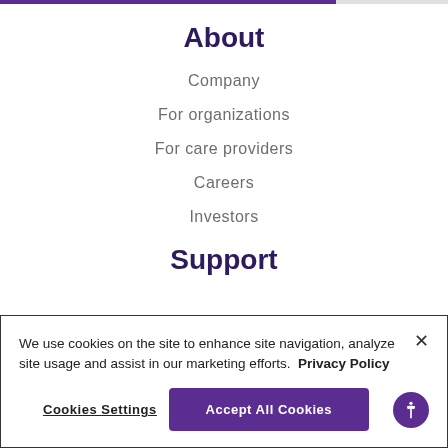About
Company
For organizations
For care providers
Careers
Investors
Support
We use cookies on the site to enhance site navigation, analyze site usage and assist in our marketing efforts.  Privacy Policy
Cookies Settings
Accept All Cookies